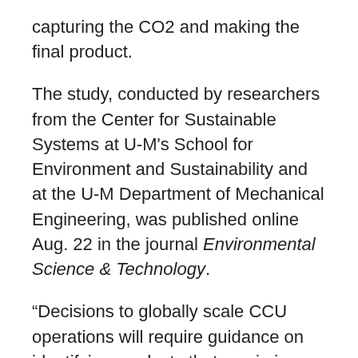capturing the CO2 and making the final product.
The study, conducted by researchers from the Center for Sustainable Systems at U-M's School for Environment and Sustainability and at the U-M Department of Mechanical Engineering, was published online Aug. 22 in the journal Environmental Science & Technology.
“Decisions to globally scale CCU operations will require guidance on identifying products that maximize the climate benefits of using captured CO2,” said lead author Dwarak Ravikumar, a